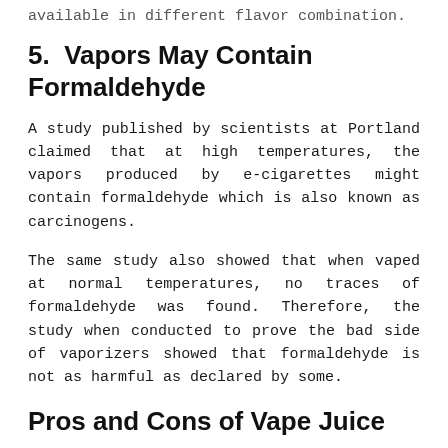available in different flavor combination.
5.  Vapors May Contain Formaldehyde
A study published by scientists at Portland claimed that at high temperatures, the vapors produced by e-cigarettes might contain formaldehyde which is also known as carcinogens.
The same study also showed that when vaped at normal temperatures, no traces of formaldehyde was found. Therefore, the study when conducted to prove the bad side of vaporizers showed that formaldehyde is not as harmful as declared by some.
Pros and Cons of Vape Juice